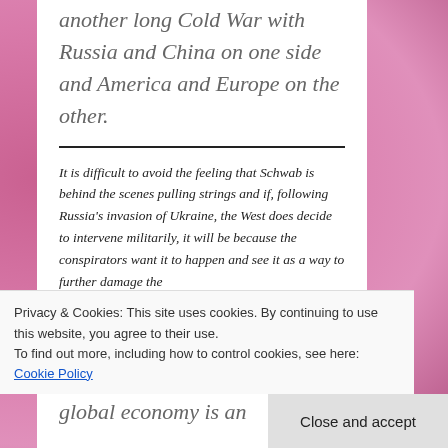another long Cold War with Russia and China on one side and America and Europe on the other.
It is difficult to avoid the feeling that Schwab is behind the scenes pulling strings and if, following Russia's invasion of Ukraine, the West does decide to intervene militarily, it will be because the conspirators want it to happen and see it as a way to further damage the
Privacy & Cookies: This site uses cookies. By continuing to use this website, you agree to their use.
To find out more, including how to control cookies, see here: Cookie Policy
Close and accept
global economy is an